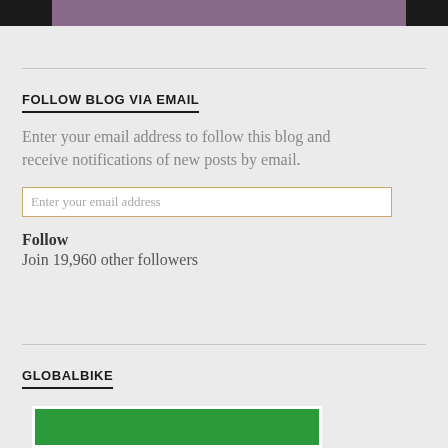[Figure (other): Top banner with black sections on left and right, and purple/mauve center section]
FOLLOW BLOG VIA EMAIL
Enter your email address to follow this blog and receive notifications of new posts by email.
Enter your email address
Follow
Join 19,960 other followers
GLOBALBIKE
[Figure (other): Green box with white border at bottom of page, partial view of GlobalBike logo/image]